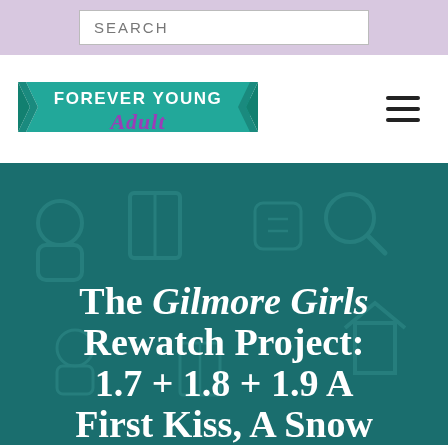SEARCH
[Figure (logo): Forever Young Adult blog logo - teal ribbon banner with 'Forever Young' in bold white text and 'Adult' in purple script]
The Gilmore Girls Rewatch Project: 1.7 + 1.8 + 1.9 A First Kiss, A Snow Day, A D...